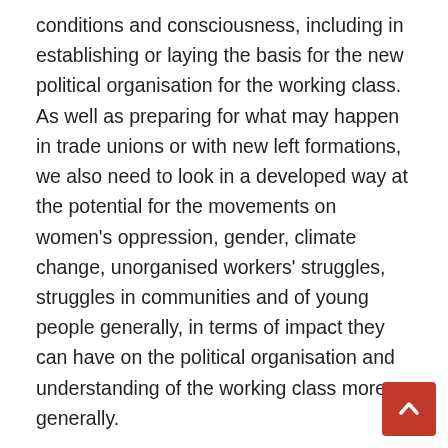conditions and consciousness, including in establishing or laying the basis for the new political organisation for the working class. As well as preparing for what may happen in trade unions or with new left formations, we also need to look in a developed way at the potential for the movements on women's oppression, gender, climate change, unorganised workers' struggles, struggles in communities and of young people generally, in terms of impact they can have on the political organisation and understanding of the working class more generally.

However, the working class is also entering the 2020's with the experience of a decade marked by the economic, political and social repercussions of what was then the greatest capitalist crisis in generations. This decade featured important episodes of mass resistance and even revolutionary upsurges, all of which have left a profound imprint on the consciousness of millions and hundreds of millions, not just in countries like ours but...